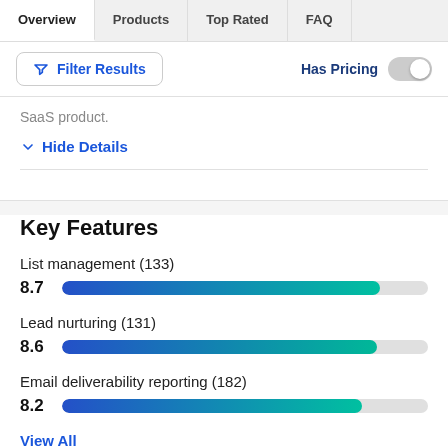Overview | Products | Top Rated | FAQ
Filter Results | Has Pricing
SaaS product.
Hide Details
Key Features
List management (133)
[Figure (bar-chart): Key Features]
Lead nurturing (131)
[Figure (bar-chart): ]
Email deliverability reporting (182)
[Figure (bar-chart): ]
View All